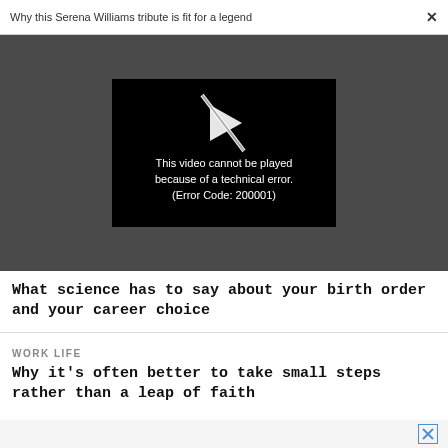Why this Serena Williams tribute is fit for a legend  ×
[Figure (screenshot): Video player showing error message on dark gray background. Black video frame with a crossed-out play icon and text: 'This video cannot be played because of a technical error. (Error Code: 200001)']
What science has to say about your birth order and your career choice
WORK LIFE
Why it's often better to take small steps rather than a leap of faith